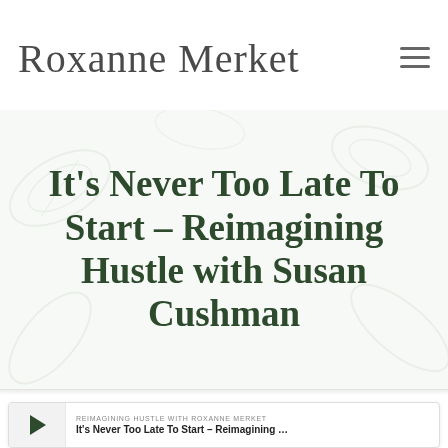Roxanne Merket
It's Never Too Late To Start – Reimagining Hustle with Susan Cushman
[Figure (screenshot): Podcast player card showing play button and episode info: REIMAGINING HUSTLE WITH ROXANNE MERKET — It's Never Too Late To Start – Reimagining ...]